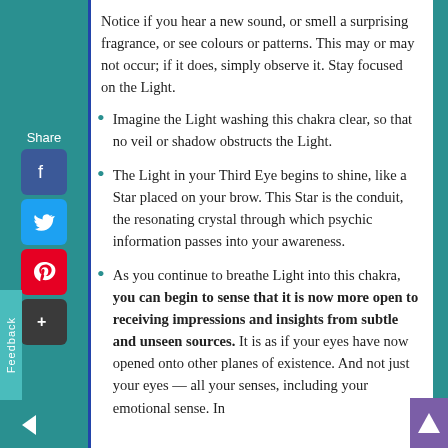Notice if you hear a new sound, or smell a surprising fragrance, or see colours or patterns. This may or may not occur; if it does, simply observe it. Stay focused on the Light.
Imagine the Light washing this chakra clear, so that no veil or shadow obstructs the Light.
The Light in your Third Eye begins to shine, like a Star placed on your brow. This Star is the conduit, the resonating crystal through which psychic information passes into your awareness.
As you continue to breathe Light into this chakra, you can begin to sense that it is now more open to receiving impressions and insights from subtle and unseen sources. It is as if your eyes have now opened onto other planes of existence. And not just your eyes — all your senses, including your emotional sense. In